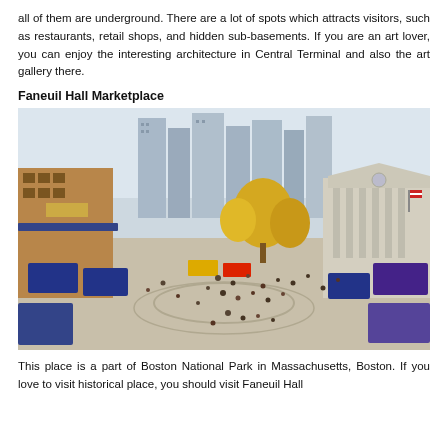all of them are underground. There are a lot of spots which attracts visitors, such as restaurants, retail shops, and hidden sub-basements. If you are an art lover, you can enjoy the interesting architecture in Central Terminal and also the art gallery there.
Faneuil Hall Marketplace
[Figure (photo): Aerial view of Faneuil Hall Marketplace in Boston, showing a crowded outdoor market with blue vendor stalls, yellow autumn trees, historic buildings, and a large neoclassical building with columns on the right.]
This place is a part of Boston National Park in Massachusetts, Boston. If you love to visit historical place, you should visit Faneuil Hall